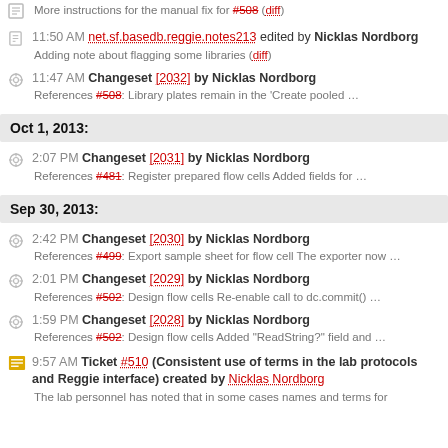More instructions for the manual fix for #508 (diff)
11:50 AM net.sf.basedb.reggie.notes213 edited by Nicklas Nordborg — Adding note about flagging some libraries (diff)
11:47 AM Changeset [2032] by Nicklas Nordborg — References #508: Library plates remain in the 'Create pooled …
Oct 1, 2013:
2:07 PM Changeset [2031] by Nicklas Nordborg — References #481: Register prepared flow cells Added fields for …
Sep 30, 2013:
2:42 PM Changeset [2030] by Nicklas Nordborg — References #499: Export sample sheet for flow cell The exporter now …
2:01 PM Changeset [2029] by Nicklas Nordborg — References #502: Design flow cells Re-enable call to dc.commit() …
1:59 PM Changeset [2028] by Nicklas Nordborg — References #502: Design flow cells Added "ReadString?" field and …
9:57 AM Ticket #510 (Consistent use of terms in the lab protocols and Reggie interface) created by Nicklas Nordborg — The lab personnel has noted that in some cases names and terms for